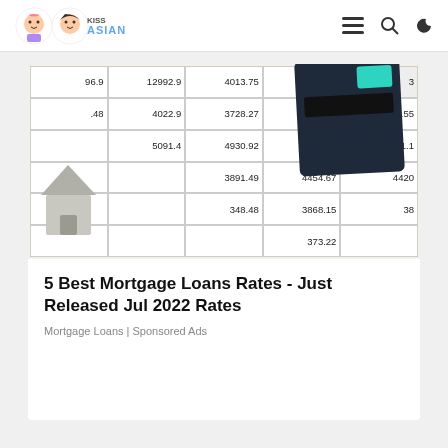[Figure (screenshot): Website header/navigation bar for KissAsian with logo, hamburger menu, search and dark mode icons, with a gradient bar at the top]
[Figure (photo): Photo of mortgage loan rate tables with numbers such as 12992.9, 3918.63, 5070.55, 3728.27, 4930.92, 3971, 4022.9, 5007.18, 4022.36, 4454.67, 3868.15, with a calculator and a house figurine placed on top]
5 Best Mortgage Loans Rates - Just Released Jul 2022 Rates
Mortgage Loans | Sponsored Ads